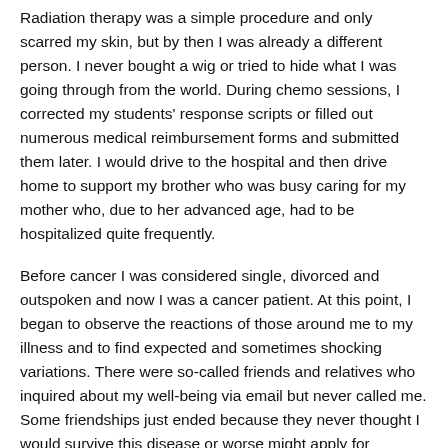Radiation therapy was a simple procedure and only scarred my skin, but by then I was already a different person. I never bought a wig or tried to hide what I was going through from the world. During chemo sessions, I corrected my students' response scripts or filled out numerous medical reimbursement forms and submitted them later. I would drive to the hospital and then drive home to support my brother who was busy caring for my mother who, due to her advanced age, had to be hospitalized quite frequently.
Before cancer I was considered single, divorced and outspoken and now I was a cancer patient. At this point, I began to observe the reactions of those around me to my illness and to find expected and sometimes shocking variations. There were so-called friends and relatives who inquired about my well-being via email but never called me. Some friendships just ended because they never thought I would survive this disease or worse might apply for financial assistance and what if I die without paying them back? The Income Tax Department sent me a notice questioning the movement of large sums of money to and from my bank account far beyond my income